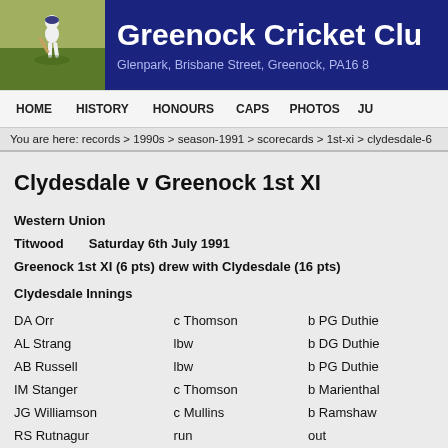Greenock Cricket Club — Glenpark, Brisbane Street, Greenock, PA16 8
HOME   HISTORY   HONOURS   CAPS   PHOTOS   JU
You are here: records > 1990s > season-1991 > scorecards > 1st-xi > clydesdale-6
Clydesdale v Greenock 1st XI
Western Union
Titwood      Saturday 6th July 1991
Greenock 1st XI (6 pts) drew with Clydesdale (16 pts)
Clydesdale Innings
| Batsman | How Out | Bowler |
| --- | --- | --- |
| DA Orr | c Thomson | b PG Duthie |
| AL Strang | lbw | b DG Duthie |
| AB Russell | lbw | b PG Duthie |
| IM Stanger | c Thomson | b Marienthal |
| JG Williamson | c Mullins | b Ramshaw |
| RS Rutnagur | run | out |
| D James | c McDonald | b PG Duthie |